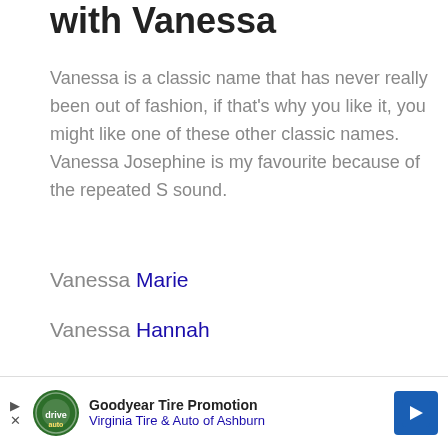with Vanessa
Vanessa is a classic name that has never really been out of fashion, if that's why you like it, you might like one of these other classic names. Vanessa Josephine is my favourite because of the repeated S sound.
Vanessa Marie
Vanessa Hannah
Vanessa [Rose]
[Figure (other): Goodyear Tire Promotion advertisement banner — Virginia Tire & Auto of Ashburn, with Goodyear logo and navigation arrow icon]